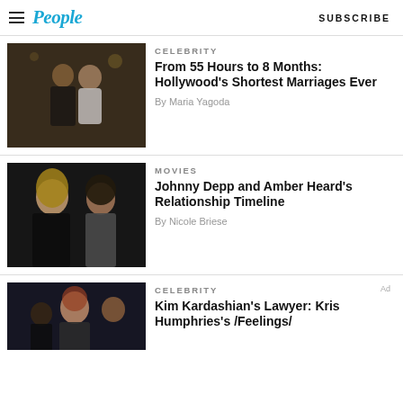People — SUBSCRIBE
[Figure (photo): Couple embracing at an outdoor event, dark background with string lights]
CELEBRITY
From 55 Hours to 8 Months: Hollywood's Shortest Marriages Ever
By Maria Yagoda
[Figure (photo): Johnny Depp and Amber Heard posing together at an event]
MOVIES
Johnny Depp and Amber Heard's Relationship Timeline
By Nicole Briese
[Figure (photo): Group of celebrities at an event, partially visible]
CELEBRITY
Kim Kardashian's Lawyer: Kris Humphries's /Feelings/